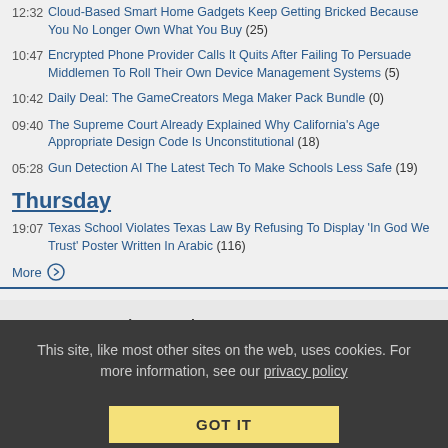12:32 Cloud-Based Smart Home Gadgets Keep Getting Bricked Because You No Longer Own What You Buy (25)
10:47 Encrypted Phone Provider Calls It Quits After Failing To Persuade Middlemen To Roll Their Own Device Management Systems (5)
10:42 Daily Deal: The GameCreators Mega Maker Pack Bundle (0)
09:40 The Supreme Court Already Explained Why California's Age Appropriate Design Code Is Unconstitutional (18)
05:28 Gun Detection AI The Latest Tech To Make Schools Less Safe (19)
Thursday
19:07 Texas School Violates Texas Law By Refusing To Display 'In God We Trust' Poster Written In Arabic (116)
More →
Tools & Services   Company
This site, like most other sites on the web, uses cookies. For more information, see our privacy policy
GOT IT